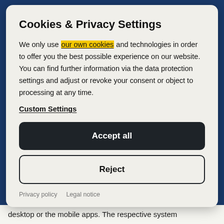Cookies & Privacy Settings
We only use our own cookies and technologies in order to offer you the best possible experience on our website. You can find further information via the data protection settings and adjust or revoke your consent or object to processing at any time.
Custom Settings
Accept all
Reject
Privacy policy   Legal notice
desktop or the mobile apps. The respective system